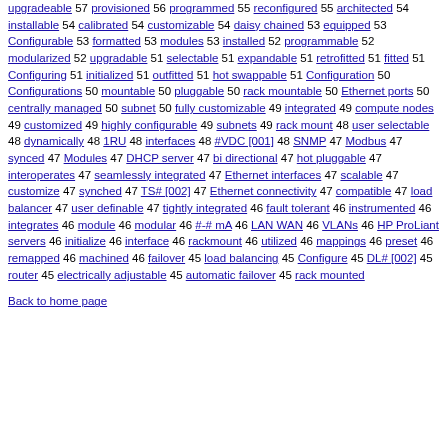upgradeable 57 provisioned 56 programmed 55 reconfigured 55 architected 54 installable 54 calibrated 54 customizable 54 daisy chained 53 equipped 53 Configurable 53 formatted 53 modules 53 installed 52 programmable 52 modularized 52 upgradable 51 selectable 51 expandable 51 retrofitted 51 fitted 51 Configuring 51 initialized 51 outfitted 51 hot swappable 51 Configuration 50 Configurations 50 mountable 50 pluggable 50 rack mountable 50 Ethernet ports 50 centrally managed 50 subnet 50 fully customizable 49 integrated 49 compute nodes 49 customized 49 highly configurable 49 subnets 49 rack mount 48 user selectable 48 dynamically 48 1RU 48 interfaces 48 #VDC [001] 48 SNMP 47 Modbus 47 synced 47 Modules 47 DHCP server 47 bi directional 47 hot pluggable 47 interoperates 47 seamlessly integrated 47 Ethernet interfaces 47 scalable 47 customize 47 synched 47 TS# [002] 47 Ethernet connectivity 47 compatible 47 load balancer 47 user definable 47 tightly integrated 46 fault tolerant 46 instrumented 46 integrates 46 module 46 modular 46 #-# mA 46 LAN WAN 46 VLANs 46 HP ProLiant servers 46 initialize 46 interface 46 rackmount 46 utilized 46 mappings 46 preset 46 remapped 46 machined 46 failover 45 load balancing 45 Configure 45 DL# [002] 45 router 45 electrically adjustable 45 automatic failover 45 rack mounted
Back to home page